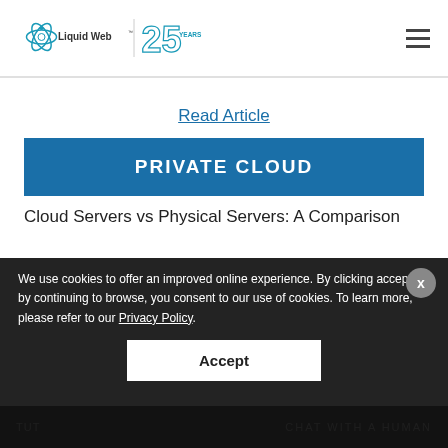Liquid Web 25 Years
Read Article
PRIVATE CLOUD
Cloud Servers vs Physical Servers: A Comparison
We use cookies to offer an improved online experience. By clicking accept or by continuing to browse, you consent to our use of cookies. To learn more, please refer to our Privacy Policy.
Accept